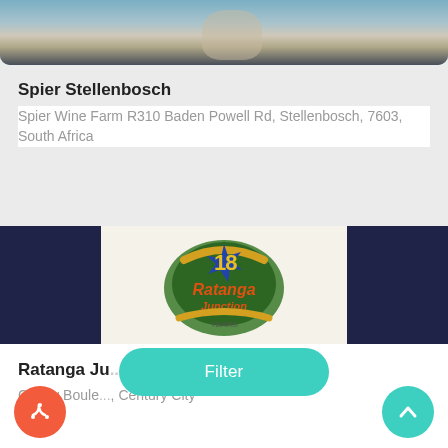[Figure (photo): Cropped photo of a person holding a bird of prey, partially visible at top of screen]
Spier Stellenbosch
Spier Wine Farm R310 Baden Powell Rd, Stellenbosch, 7603, South Africa
[Figure (logo): Ratanga Junction 18 Years anniversary logo on dark navy blue background with white center panel]
Ratanga Ju...
Centry Boule..., Century City
Filter
[Figure (other): Orange circular share/reply button at bottom left]
[Figure (other): Teal circular scroll-up button at bottom right]